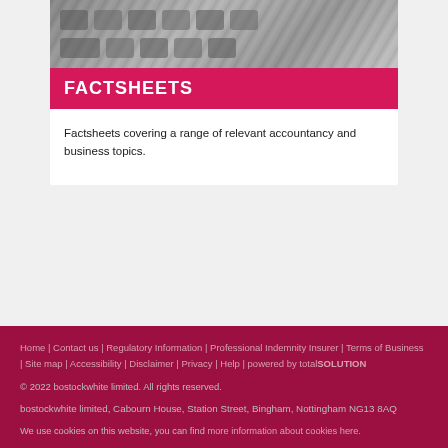[Figure (photo): Greyscale photo of keyboard or office equipment]
FACTSHEETS
Factsheets covering a range of relevant accountancy and business topics.
Home | Contact us | Regulatory Information | Professional Indemnity Insurer | Terms of Business | Site map | Accessibility | Disclaimer | Privacy | Help | powered by totalSOLUTION

© 2022 bostockwhite limited. All rights reserved.

bostockwhite limited, Cabourn House, Station Street, Bingham, Nottingham NG13 8AQ

We use cookies on this website, you can find more information about cookies here.